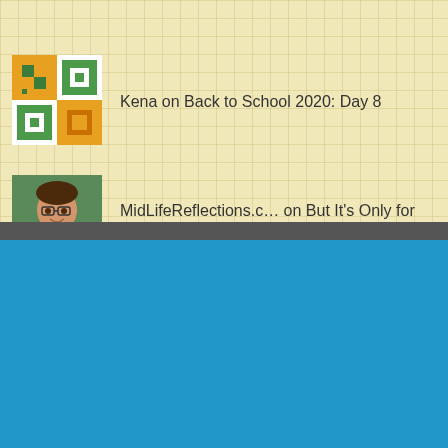[Figure (illustration): Quilt block avatar in orange/green pattern]
Kena on Back to School 2020: Day 8
[Figure (photo): Woman with glasses and colorful necklace, smiling outdoors]
MidLifeReflections.c… on But It's Only for Three…
Archives
June 2021
April 2021
November 2020
September 2020